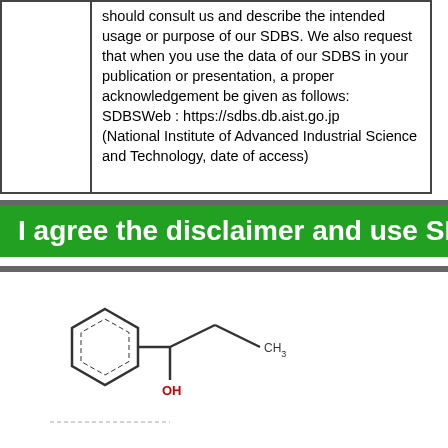|  | should consult us and describe the intended usage or purpose of our SDBS. We also request that when you use the data of our SDBS in your publication or presentation, a proper acknowledgement be given as follows:
SDBSWeb : https://sdbs.db.aist.go.jp
(National Institute of Advanced Industrial Science and Technology, date of access) |
I agree the disclaimer and use SDBS
[Figure (engineering-diagram): Chemical structure of 1-phenyl-1-propanol (or similar): a benzene ring connected to a carbon bearing an OH group, with a CH2-CH3 chain. OH label in red, CH3 label in black.]